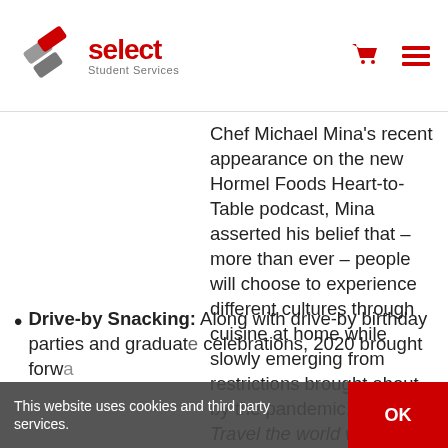Select Student Services
Chef Michael Mina's recent appearance on the new Hormel Foods Heart-to-Table podcast, Mina asserted his belief that – more than ever – people will choose to experience different cultures through cuisine at home while slowly emerging from restrictions brought about by the pandemic. TIP: Travel the world with Hormel™ brands like La Victoria®, Herdez®, and Dona Maria®.
Drive-by Snacking: Along with drive-by birthday parties and graduation celebrations, 2020 brought forward…
This website uses cookies and third party services.